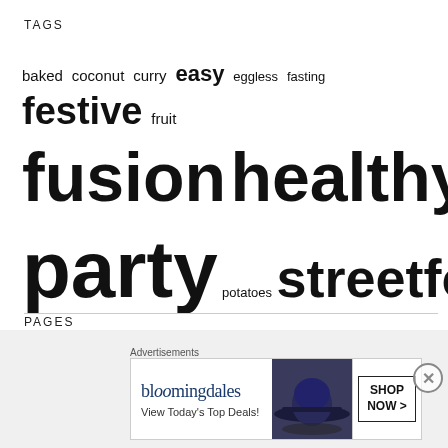TAGS
baked coconut curry easy eggless fasting festive fruit fusion healthy lentils mango paneer party potatoes streetfood sweet turmeric vegan
PAGES
About
Blog
[Figure (other): Bloomingdales advertisement banner with text 'View Today's Top Deals!' and 'SHOP NOW >' button, showing a woman in a wide-brim hat]